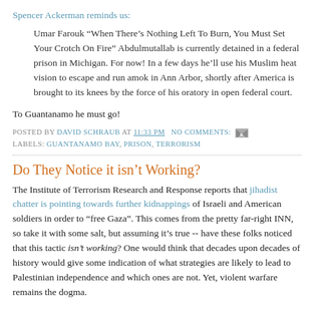Spencer Ackerman reminds us:
Umar Farouk “When There’s Nothing Left To Burn, You Must Set Your Crotch On Fire” Abdulmutallab is currently detained in a federal prison in Michigan. For now! In a few days he’ll use his Muslim heat vision to escape and run amok in Ann Arbor, shortly after America is brought to its knees by the force of his oratory in open federal court.
To Guantanamo he must go!
POSTED BY DAVID SCHRAUB AT 11:33 PM   NO COMMENTS:
LABELS: GUANTANAMO BAY, PRISON, TERRORISM
Do They Notice it isn’t Working?
The Institute of Terrorism Research and Response reports that jihadist chatter is pointing towards further kidnappings of Israeli and American soldiers in order to "free Gaza". This comes from the pretty far-right INN, so take it with some salt, but assuming it’s true -- have these folks noticed that this tactic isn’t working? One would think that decades upon decades of history would give some indication of what strategies are likely to lead to Palestinian independence and which ones are not. Yet, violent warfare remains the dogma.